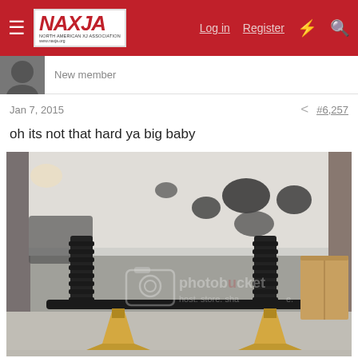NAXJA North American XJ Association | Log in | Register
New member
Jan 7, 2015   #6,257
oh its not that hard ya big baby
[Figure (photo): Photo of a vehicle undercarriage suspended on jack stands in a garage, showing coil springs, front axle, and crossmember. A cardboard box is visible on the right side. The image has a photobucket watermark reading 'photobucket host. store. share.'. Jack stands (yellow/wooden colored) visible at the bottom.]